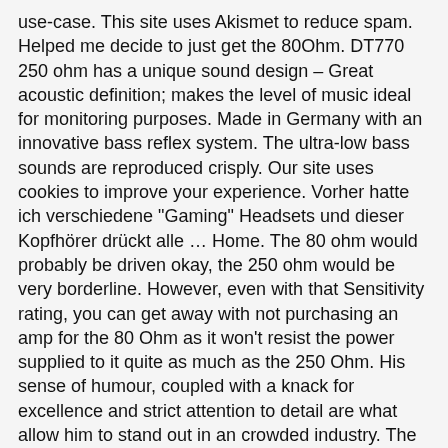use-case. This site uses Akismet to reduce spam. Helped me decide to just get the 80Ohm. DT770 250 ohm has a unique sound design – Great acoustic definition; makes the level of music ideal for monitoring purposes. Made in Germany with an innovative bass reflex system. The ultra-low bass sounds are reproduced crisply. Our site uses cookies to improve your experience. Vorher hatte ich verschiedene "Gaming" Headsets und dieser Kopfhörer drückt alle … Home. The 80 ohm would probably be driven okay, the 250 ohm would be very borderline. However, even with that Sensitivity rating, you can get away with not purchasing an amp for the 80 Ohm as it won't resist the power supplied to it quite as much as the 250 Ohm. His sense of humour, coupled with a knack for excellence and strict attention to detail are what allow him to stand out in an crowded industry. The product dimensions are 10 inches' x 5 inches' x 8 inches. window.dojoRequire(["mojo/signup-forms/Loader"], function(L) { L.start({"baseUrl":"mc.us19.list-manage.com","uuid":"0573ad2c5093a15ee16bc49c5","